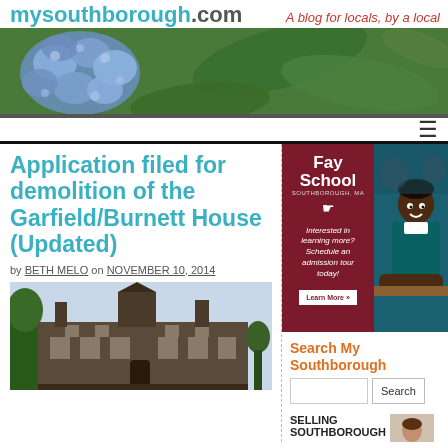mysouthborough.com — A blog for locals, by a local
[Figure (photo): Banner photo of blue hydrangea flowers and green leaves]
Application filed for demolition of the Garfield/Burnett House (Updated)
by BETH MELO on NOVEMBER 10, 2014
[Figure (photo): Photo of a large historic multi-story brick house with towers and chimneys against a light sky, with trees nearby]
[Figure (photo): Fay School advertisement: dark red panel with Fay School Southborough MA text and crest, 'Interested in learning more? Schedule an admission tour today! Learn More »' button, and photo of smiling student]
Search My Southborough
[Figure (screenshot): Selling Southborough advertisement thumbnail with portrait photo]